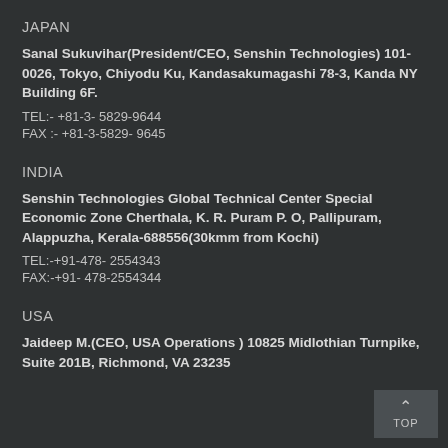JAPAN
Sanal Sukuvihar(President/CEO, Senshin Technologies) 101-0026, Tokyo, Chiyodu Ku, Kandasakumagashi 78-3, Kanda NY Building 6F.
TEL:- +81-3- 5829-9644
FAX :- +81-3-5829- 9645
INDIA
Senshin Technologies Global Technical Center Special Economic Zone Cherthala, K. R. Puram P. O, Pallipuram, Alappuzha, Kerala-688556(30kmm from Kochi)
TEL:-+91-478- 2554343
FAX:-+91- 478-2554344
USA
Jaideep M.(CEO, USA Operations ) 10825 Midlothian Turnpike, Suite 201B, Richmond, VA 23235